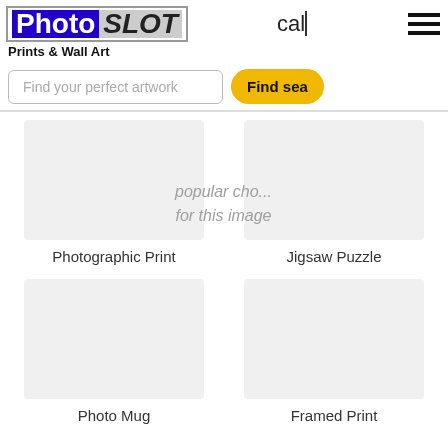[Figure (logo): PhotoSLOT logo — 'Photo' in white on blue background, 'SLOT' in dark on grey background, all in a bordered box]
cal
[Figure (other): Hamburger menu icon — three horizontal black bars]
Prints & Wall Art
Find your perfect artwork
popular cho... for this image
Find sea
Photographic Print
Jigsaw Puzzle
Photo Mug
Framed Print